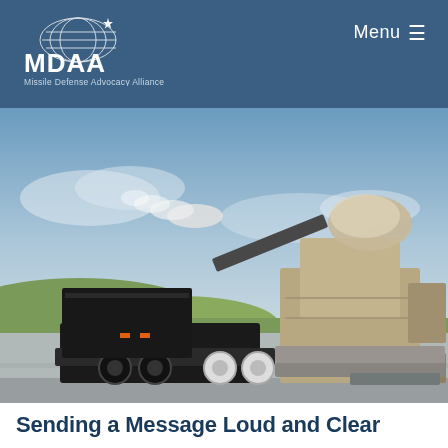MDAA Missile Defense Advocacy Alliance | Menu
[Figure (photo): Military weapon system — a Phalanx CIWS or similar close-in weapon system mounted on a trailer, firing with a smoke/exhaust trail visible, on a tarmac with green hills and blue sky in the background.]
Sending a Message Loud and Clear